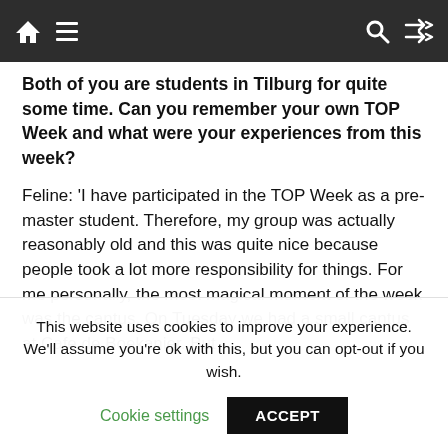Navigation bar with home, menu, search, and shuffle icons
Both of you are students in Tilburg for quite some time. Can you remember your own TOP Week and what were your experiences from this week?
Feline: 'I have participated in the TOP Week as a pre-master student. Therefore, my group was actually reasonably old and this was quite nice because people took a lot more responsibility for things. For me personally, the most magical moment of the week was the cantus. On Tuesday we had a small cantus at Cafe de Boekanier. But
This website uses cookies to improve your experience. We'll assume you're ok with this, but you can opt-out if you wish.
Cookie settings  ACCEPT